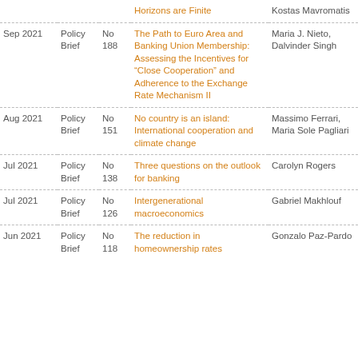| Date | Type | No | Title | Author(s) |
| --- | --- | --- | --- | --- |
|  |  |  | Horizons are Finite | Kostas Mavromatis |
| Sep 2021 | Policy Brief | No 188 | The Path to Euro Area and Banking Union Membership: Assessing the Incentives for “Close Cooperation” and Adherence to the Exchange Rate Mechanism II | Maria J. Nieto, Dalvinder Singh |
| Aug 2021 | Policy Brief | No 151 | No country is an island: International cooperation and climate change | Massimo Ferrari, Maria Sole Pagliari |
| Jul 2021 | Policy Brief | No 138 | Three questions on the outlook for banking | Carolyn Rogers |
| Jul 2021 | Policy Brief | No 126 | Intergenerational macroeconomics | Gabriel Makhlouf |
| Jun 2021 | Policy Brief | No 118 | The reduction in homeownership rates | Gonzalo Paz-Pardo |